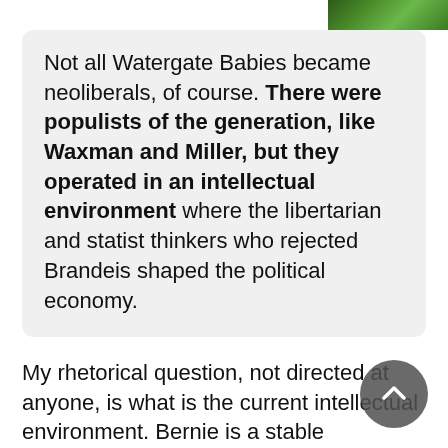[Figure (photo): Green foliage or tree canopy image in top right corner]
Not all Watergate Babies became neoliberals, of course. There were populists of the generation, like Waxman and Miller, but they operated in an intellectual environment where the libertarian and statist thinkers who rejected Brandeis shaped the political economy.
My rhetorical question, not directed at anyone, is what is the current intellectual environment. Bernie is a stable spokesperson for Rooseveltian dreams for the people. But he hasn't aged well since 2019. He lacks the energy, possibly much dissipated by embracing HRC and by